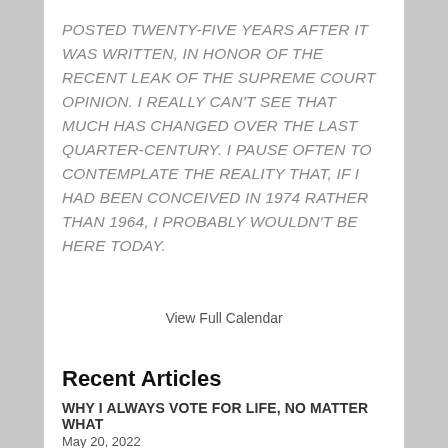POSTED TWENTY-FIVE YEARS AFTER IT WAS WRITTEN, IN HONOR OF THE RECENT LEAK OF THE SUPREME COURT OPINION. I REALLY CAN'T SEE THAT MUCH HAS CHANGED OVER THE LAST QUARTER-CENTURY. I PAUSE OFTEN TO CONTEMPLATE THE REALITY THAT, IF I HAD BEEN CONCEIVED IN 1974 RATHER THAN 1964, I PROBABLY WOULDN'T BE HERE TODAY.
View Full Calendar
Recent Articles
WHY I ALWAYS VOTE FOR LIFE, NO MATTER WHAT
May 20, 2022